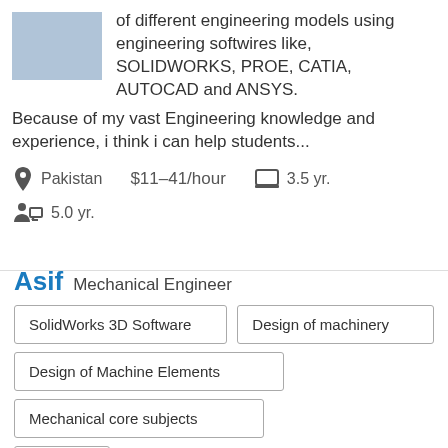[Figure (photo): Profile photo thumbnail of a person, partially visible at top-left]
of different engineering models using engineering softwires like, SOLIDWORKS, PROE, CATIA, AUTOCAD and ANSYS.
Because of my vast Engineering knowledge and experience, i think i can help students...
Pakistan   $11–41/hour   3.5 yr.
5.0 yr.
Asif Mechanical Engineer
SolidWorks 3D Software
Design of machinery
Design of Machine Elements
Mechanical core subjects
5 More ▼